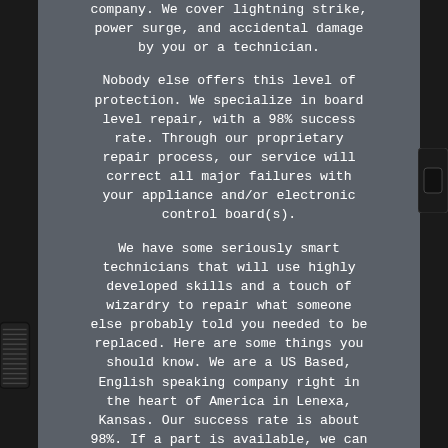company. We cover lightning strike, power surge, and accidental damage by you or a technician.

Nobody else offers this level of protection. We specialize in board level repair, with a 98% success rate. Through our proprietary repair process, our service will correct all major failures with your appliance and/or electronic control board(s).

We have some seriously smart technicians that will use highly developed skills and a touch of wizardry to repair what someone else probably told you needed to be replaced. Here are some things you should know. We are a US Based, English speaking company right in the heart of America in Lenexa, Kansas. Our success rate is about 98%. If a part is available, we can sell you a part instead. They are